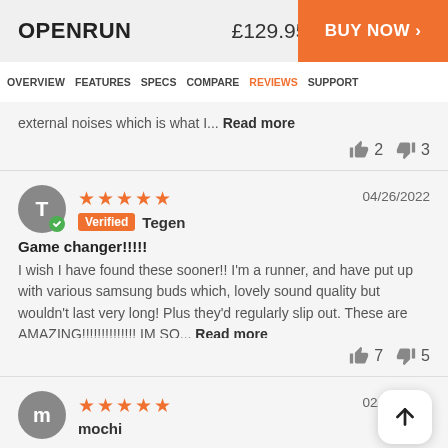OPENRUN  £129.95  BUY NOW >
OVERVIEW  FEATURES  SPECS  COMPARE  REVIEWS  SUPPORT
external noises which is what I... Read more
👍 2  👎 3
04/26/2022 — ★★★★★ — Verified — Tegen
Game changer!!!!!
I wish I have found these sooner!! I'm a runner, and have put up with various samsung buds which, lovely sound quality but wouldn't last very long! Plus they'd regularly slip out. These are AMAZING!!!!!!!!!!!!!! IM SO... Read more
👍 7  👎 5
02/14/2022 — ★★★★★ — mochi